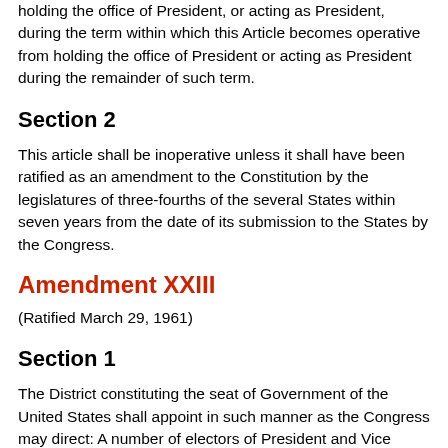holding the office of President, or acting as President, during the term within which this Article becomes operative from holding the office of President or acting as President during the remainder of such term.
Section 2
This article shall be inoperative unless it shall have been ratified as an amendment to the Constitution by the legislatures of three-fourths of the several States within seven years from the date of its submission to the States by the Congress.
Amendment XXIII
(Ratified March 29, 1961)
Section 1
The District constituting the seat of Government of the United States shall appoint in such manner as the Congress may direct: A number of electors of President and Vice President equal to the whole number of Senators and Representatives in Congress to which the District would be entitled if it were a State, but in no event more than the least populous State; they shall be in addition to those appointed